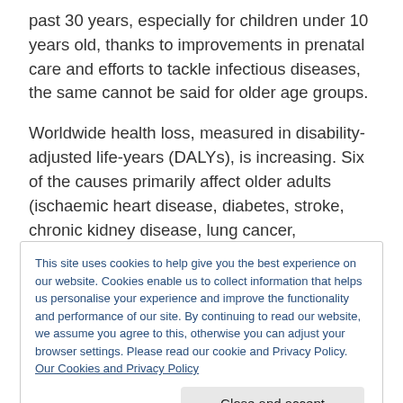past 30 years, especially for children under 10 years old, thanks to improvements in prenatal care and efforts to tackle infectious diseases, the same cannot be said for older age groups.
Worldwide health loss, measured in disability-adjusted life-years (DALYs), is increasing. Six of the causes primarily affect older adults (ischaemic heart disease, diabetes, stroke, chronic kidney disease, lung cancer,
This site uses cookies to help give you the best experience on our website. Cookies enable us to collect information that helps us personalise your experience and improve the functionality and performance of our site. By continuing to read our website, we assume you agree to this, otherwise you can adjust your browser settings. Please read our cookie and Privacy Policy. Our Cookies and Privacy Policy
are a greater number occurring at old age. There has